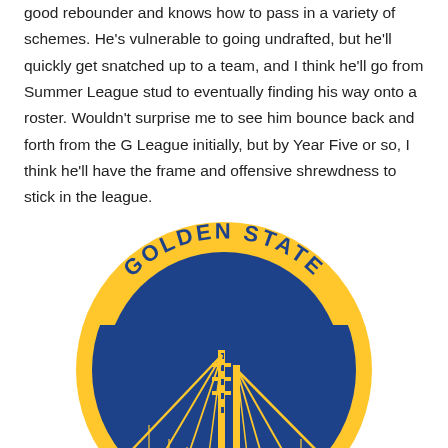good rebounder and knows how to pass in a variety of schemes. He's vulnerable to going undrafted, but he'll quickly get snatched up to a team, and I think he'll go from Summer League stud to eventually finding his way onto a roster. Wouldn't surprise me to see him bounce back and forth from the G League initially, but by Year Five or so, I think he'll have the frame and offensive shrewdness to stick in the league.
[Figure (logo): Golden State Warriors logo — blue circle with gold Bay Bridge illustration and 'GOLDEN STATE' text arcing across the top in blue letters on gold arc]